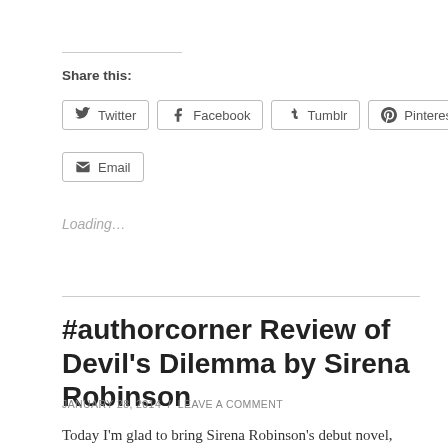Share this:
Twitter  Facebook  Tumblr  Pinterest  Email
Loading…
#authorcorner Review of Devil's Dilemma by Sirena Robinson
JANUARY 28, 2014  /  LEAVE A COMMENT
Today I'm glad to bring Sirena Robinson's debut novel,